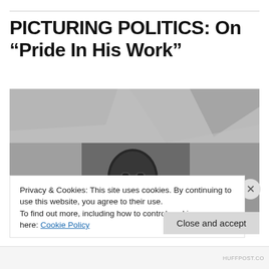PICTURING POLITICS: On “Pride In His Work”
[Figure (photo): Black and white photograph of a smiling middle-aged Black man in a suit, photographed from below against a background of concrete architectural elements (overpasses or beams).]
Privacy & Cookies: This site uses cookies. By continuing to use this website, you agree to their use.
To find out more, including how to control cookies, see here: Cookie Policy
Close and accept